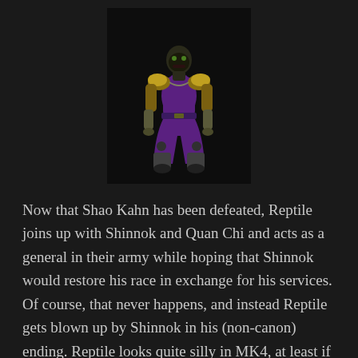[Figure (illustration): A video game character (Reptile from Mortal Kombat 4) wearing a yellow/gold top and purple pants, with a reptilian mask, standing in a combat pose against a dark background.]
Now that Shao Kahn has been defeated, Reptile joins up with Shinnok and Quan Chi and acts as a general in their army while hoping that Shinnok would restore his race in exchange for his services. Of course, that never happens, and instead Reptile gets blown up by Shinnok in his (non-canon) ending. Reptile looks quite silly in MK4, at least if you don't use his alternate ninja outfit, but his fatalities are quite good. In one of them, he chews the opponent's face off, and